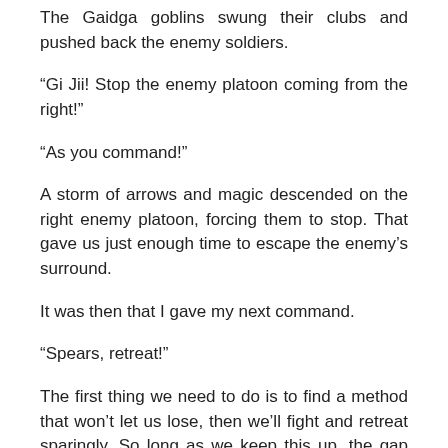The Gaidga goblins swung their clubs and pushed back the enemy soldiers.
“Gi Jii! Stop the enemy platoon coming from the right!”
“As you command!”
A storm of arrows and magic descended on the right enemy platoon, forcing them to stop. That gave us just enough time to escape the enemy’s surround.
It was then that I gave my next command.
“Spears, retreat!”
The first thing we need to do is to find a method that won’t let us lose, then we’ll fight and retreat sparingly. So long as we keep this up, the gap between us and the